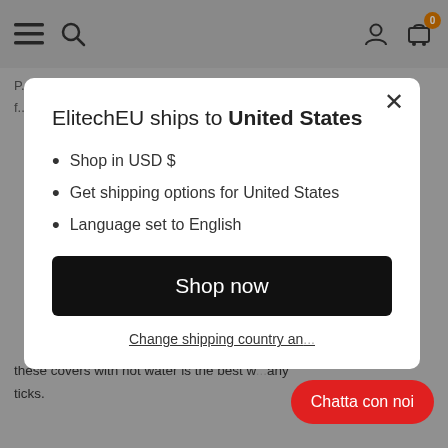[Figure (screenshot): Website navigation bar with hamburger menu, search icon, user icon, and cart icon with orange badge showing 0]
ElitechEU ships to United States
Shop in USD $
Get shipping options for United States
Language set to English
Shop now
Change shipping country an...
Chatta con noi
these covers with hot water is the best w... ...any ticks.